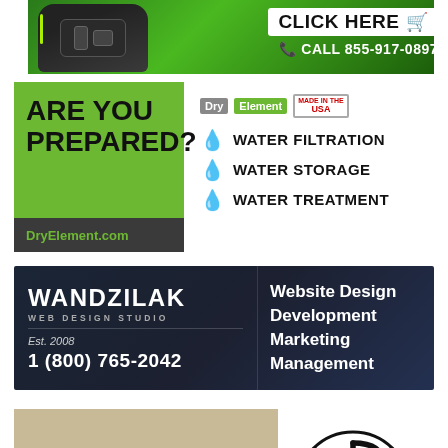[Figure (illustration): Green banner ad with a black device/gadget on the left and text 'CLICK HERE' in a white box with cart icon and 'CALL 855-917-0897' below in white text]
[Figure (illustration): DryElement ad split into left green panel 'ARE YOU PREPARED? DryElement.com' and right white panel with Dry Element USA logo and three bullet items: WATER FILTRATION, WATER STORAGE, WATER TREATMENT with blue water drop icons]
[Figure (illustration): Wandzilak Web Design Studio dark navy ad with company name, Est. 2008, phone 1 (800) 765-2042 on left, and services: Website Design, Development, Marketing, Management on right]
[Figure (illustration): Harris Assembly Group ad with tan/beige background, company name in green, AS 9100D ISO 9001:2015 certification, and Chi-Rho Christian symbol logo on right]